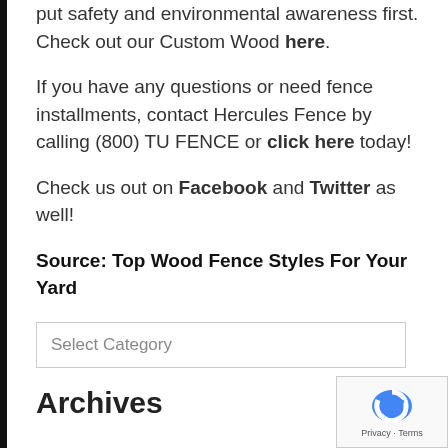put safety and environmental awareness first. Check out our Custom Wood here.
If you have any questions or need fence installments, contact Hercules Fence by calling (800) TU FENCE or click here today!
Check us out on Facebook and Twitter as well!
Source: Top Wood Fence Styles For Your Yard
Select Category
Archives